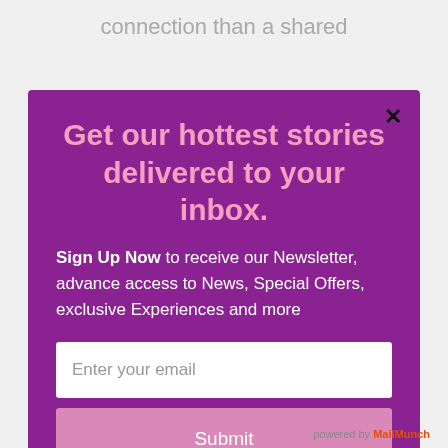connection than a shared
mission for democracy.
Get our hottest stories delivered to your inbox.
Sign Up Now to receive our Newsletter, advance access to News, Special Offers, exclusive Experiences and more
Booklist hails Colbert's The Voting Booth as "warmly and
Enter your email
Submit
We'll assume you're ok with this, but you can opt-out if you wish.
Accept
Read More